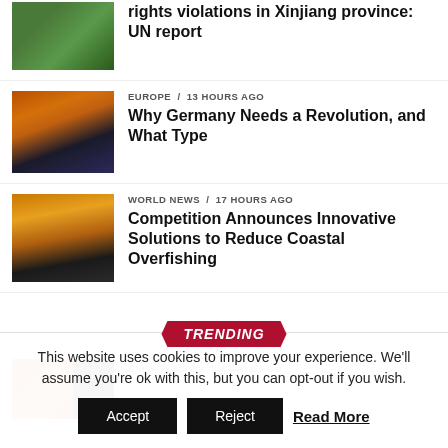[Figure (photo): Person sitting on grass in blue jacket]
rights violations in Xinjiang province: UN report
[Figure (photo): Building with flag at sunset dramatic sky]
EUROPE / 13 hours ago
Why Germany Needs a Revolution, and What Type
[Figure (photo): Industrial fishing scene at sunset]
WORLD NEWS / 17 hours ago
Competition Announces Innovative Solutions to Reduce Coastal Overfishing
TRENDING
[Figure (photo): Fire/energy image split with dark panel]
ENERGY NEWS / 4 days ago
This website uses cookies to improve your experience. We'll assume you're ok with this, but you can opt-out if you wish.